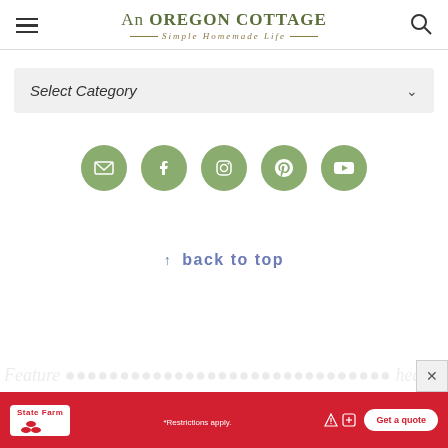An OREGON COTTAGE — Simple Homemade Life
Select Category
[Figure (infographic): Row of 5 green circular social media icons: email, Facebook, Instagram, Pinterest, YouTube]
↑ back to top
[Figure (infographic): State Farm advertisement banner with red background, State Farm logo, '*Restrictions apply.' text, and 'Get a quote' button]